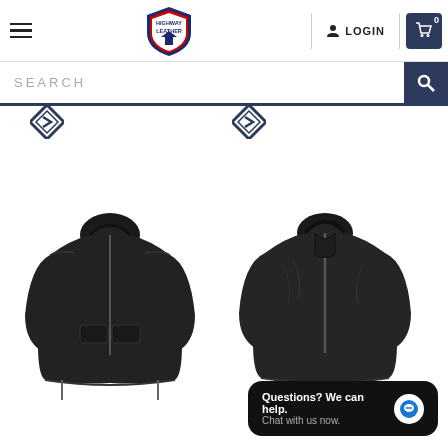[Figure (screenshot): E-commerce website screenshot showing Highway Leather store with navigation bar, search bar, two product cards with BEST SELLER badges for Ladies Lightweight Black Racer Jacket w/ Crinkled, and a live chat widget.]
Highway Leather — navigation bar with hamburger menu, logo, LOGIN, and cart (0)
SEARCH
BEST SELLER
Ladies Lightweight Black Racer Jacket w/ Crinkled
BEST SELLER
Ladies Lightweight Black Racer Jacket w/ Crinkled
Questions? We can help. Chat with us now.